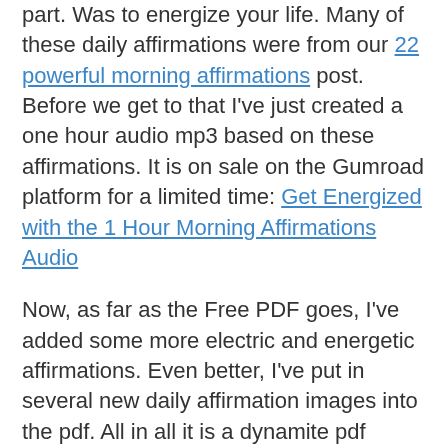part. Was to energize your life. Many of these daily affirmations were from our 22 powerful morning affirmations post. Before we get to that I've just created a one hour audio mp3 based on these affirmations. It is on sale on the Gumroad platform for a limited time: Get Energized with the 1 Hour Morning Affirmations Audio
Now, as far as the Free PDF goes, I've added some more electric and energetic affirmations. Even better, I've put in several new daily affirmation images into the pdf. All in all it is a dynamite pdf packed with power. I think you'll find it is a quick and easy way to get you going in the morning or whenever you need a motivational boost.
Right after the download link you'll want to check out our Positive Powerful Morning